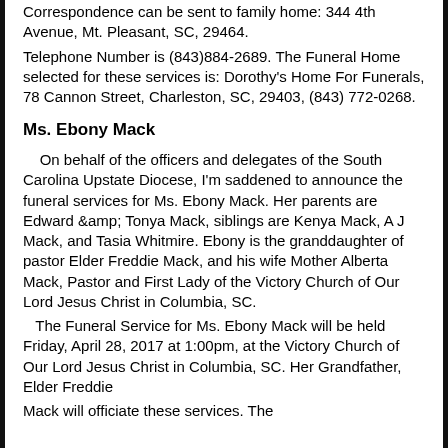Correspondence can be sent to family home: 344 4th Avenue, Mt. Pleasant, SC, 29464. Telephone Number is (843)884-2689. The Funeral Home selected for these services is: Dorothy's Home For Funerals, 78 Cannon Street, Charleston, SC, 29403, (843) 772-0268.
Ms. Ebony Mack
On behalf of the officers and delegates of the South Carolina Upstate Diocese, I'm saddened to announce the funeral services for Ms. Ebony Mack. Her parents are Edward &amp; Tonya Mack, siblings are Kenya Mack, A J Mack, and Tasia Whitmire. Ebony is the granddaughter of pastor Elder Freddie Mack, and his wife Mother Alberta Mack, Pastor and First Lady of the Victory Church of Our Lord Jesus Christ in Columbia, SC.
The Funeral Service for Ms. Ebony Mack will be held Friday, April 28, 2017 at 1:00pm, at the Victory Church of Our Lord Jesus Christ in Columbia, SC. Her Grandfather, Elder Freddie Mack will officiate these services. The